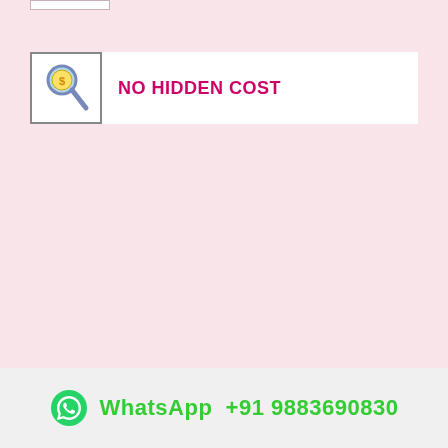[Figure (illustration): Icon of a magnifying glass with a dollar/coin symbol, inside a bordered white box]
NO HIDDEN COST
WhatsApp +91 9883690830